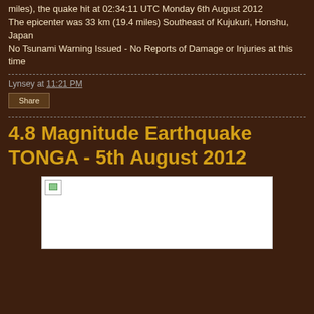miles), the quake hit at 02:34:11 UTC Monday 6th August 2012
The epicenter was 33 km (19.4 miles) Southeast of Kujukuri, Honshu, Japan
No Tsunami Warning Issued - No Reports of Damage or Injuries at this time
Lynsey at 11:21 PM
Share
4.8 Magnitude Earthquake TONGA - 5th August 2012
[Figure (photo): Placeholder/broken image in a white bordered box]